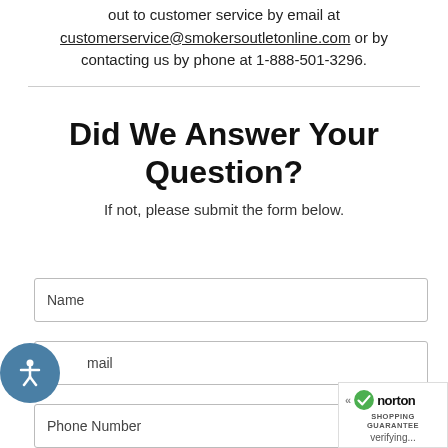out to customer service by email at customerservice@smokersoutletonline.com or by contacting us by phone at 1-888-501-3296.
Did We Answer Your Question?
If not, please submit the form below.
Name
Email
Phone Number